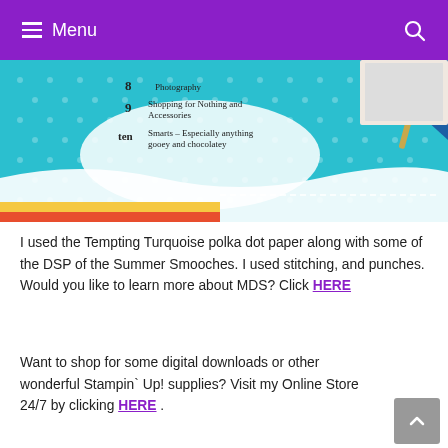Menu
[Figure (photo): A scrapbook or craft project page with turquoise polka dot background, decorative elements including a pennant, stitching, numbered list items (8 Photography, 9 Shopping for Nothing and Accessories, ten Smarts - Especially anything gooey and chocolate), patterned paper strips in yellow and red at bottom.]
I used the Tempting Turquoise polka dot paper along with some of the DSP of the Summer Smooches. I used stitching, and punches. Would you like to learn more about MDS? Click HERE
Want to shop for some digital downloads or other wonderful Stampin` Up! supplies? Visit my Online Store 24/7 by clicking HERE .
Do you have The Chalet added on your Facebook?